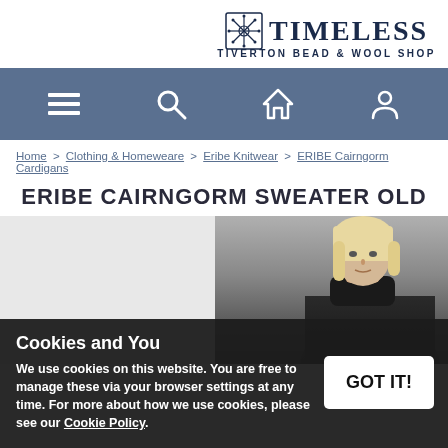TIMELESS TIVERTON BEAD & WOOL SHOP
[Figure (screenshot): Navigation bar with hamburger menu, search, home, and account icons on a steel blue background]
Home > Clothing & Homeweare > Eribe Knitwear > ERIBE Cairngorm Cardigans
ERIBE CAIRNGORM SWEATER OLD
[Figure (photo): Product photo showing a woman wearing a dark turtleneck sweater, blonde hair, against a grey background]
Cookies and You
We use cookies on this website. You are free to manage these via your browser settings at any time. For more about how we use cookies, please see our Cookie Policy.
GOT IT!